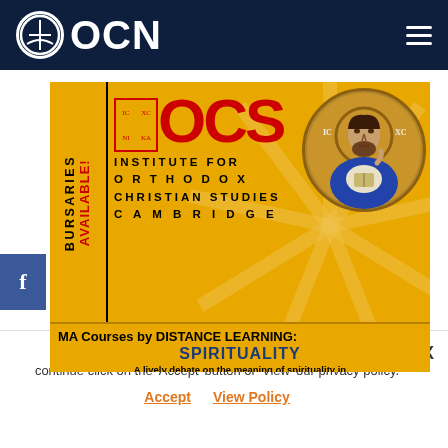OCN
[Figure (illustration): IOCS (Institute for Orthodox Christian Studies Cambridge) advertisement banner on gold/amber background. Features the IOCS logo with red lettering, a Byzantine mosaic icon of Christ Pantocrator in a circular frame, text reading 'MA Courses by DISTANCE LEARNING: SPIRITUALITY - A lively debate on the meaning of spirituality in today's multi-cultural environments. CONTEMPORARY FAITH & BELIEF - A timely conversation about the role of faith and belief in the contemporary world.' Left strip reads 'BURSARIES AVAILABLE!' vertically.]
This website uses cookies to improve your experience. To continue click on the 'Accept' button or 'View' our privacy policy.
Accept   View Policy